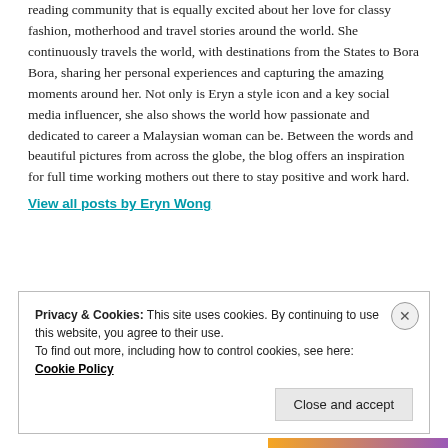reading community that is equally excited about her love for classy fashion, motherhood and travel stories around the world. She continuously travels the world, with destinations from the States to Bora Bora, sharing her personal experiences and capturing the amazing moments around her. Not only is Eryn a style icon and a key social media influencer, she also shows the world how passionate and dedicated to career a Malaysian woman can be. Between the words and beautiful pictures from across the globe, the blog offers an inspiration for full time working mothers out there to stay positive and work hard.
View all posts by Eryn Wong
Privacy & Cookies: This site uses cookies. By continuing to use this website, you agree to their use. To find out more, including how to control cookies, see here: Cookie Policy
Close and accept